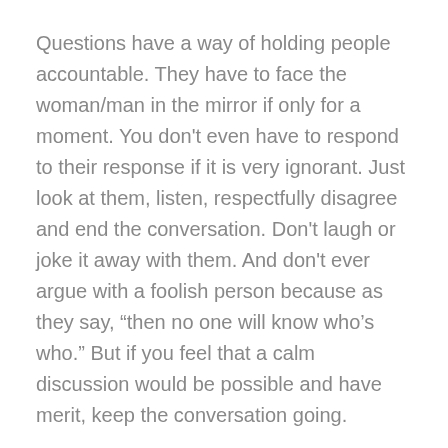Questions have a way of holding people accountable. They have to face the woman/man in the mirror if only for a moment. You don't even have to respond to their response if it is very ignorant. Just look at them, listen, respectfully disagree and end the conversation. Don't laugh or joke it away with them. And don't ever argue with a foolish person because as they say, “then no one will know who’s who.” But if you feel that a calm discussion would be possible and have merit, keep the conversation going.
At the time of this post, Thanksgiving is less than a week away, so surely you will have a chance to practice if you have family members who think that it’s okay to bully, taunt and openly hate people. You may have sat by quietly as they spouted hate at the table where you eat before, but no more. Not this year. Hold them accountable for their hateful and ignorant comments by asking thoughtful but respectful